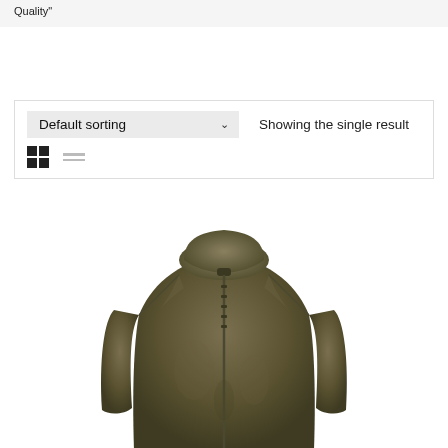Quality"
Default sorting  Showing the single result
[Figure (photo): An olive/khaki colored leather zip-up jacket with a high collar and shoulder detailing, shown on a white background. The lower portion of the jacket is visible.]